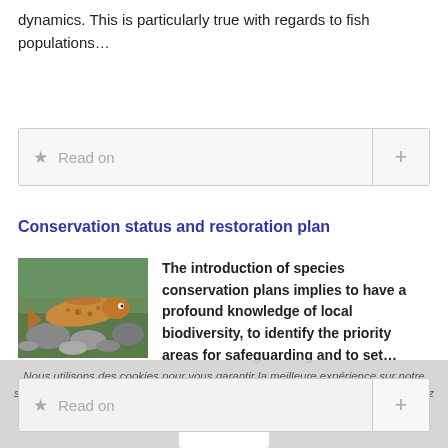dynamics. This is particularly true with regards to fish populations…
[Figure (other): Read on button with star icon and plus button]
Conservation status and restoration plan
[Figure (photo): Underwater photo of a fish (trout) among rocks on a riverbed]
The introduction of species conservation plans implies to have a profound knowledge of local biodiversity, to identify the priority areas for safeguarding and to set…
[Figure (other): Read on button with star icon and plus button]
Nous utilisons des cookies pour vous garantir la meilleure expérience sur notre site. Si vous continuez à utiliser ce dernier, nous considérerons que vous acceptez l'utilisation des cookies.